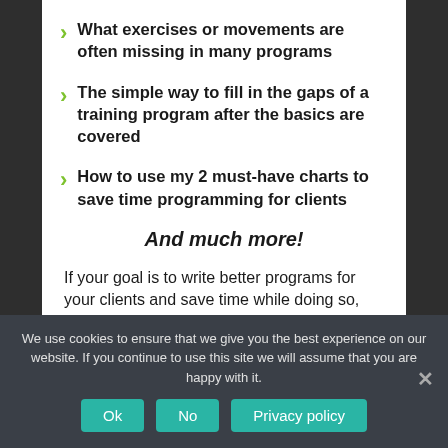What exercises or movements are often missing in many programs
The simple way to fill in the gaps of a training program after the basics are covered
How to use my 2 must-have charts to save time programming for clients
And much more!
If your goal is to write better programs for your clients and save time while doing so, then you'll want to sign up for this free lesson!
We use cookies to ensure that we give you the best experience on our website. If you continue to use this site we will assume that you are happy with it.